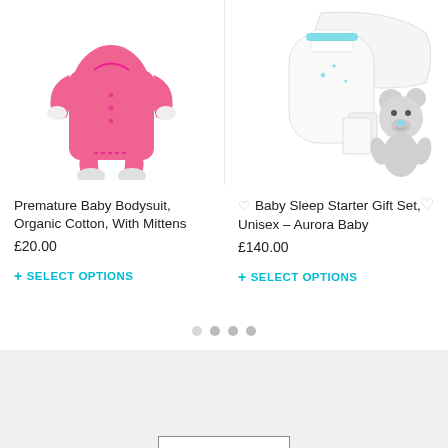[Figure (photo): Pink premature baby bodysuit/sleepsuit with feet and mittens on white background]
[Figure (photo): Baby sleep starter gift set including white sleep sack, pillow, book, and grey teddy bear on white background]
Premature Baby Bodysuit, Organic Cotton, With Mittens
£20.00
+ SELECT OPTIONS
Baby Sleep Starter Gift Set, Unisex - Aurora Baby
£140.00
+ SELECT OPTIONS
[Figure (other): Carousel pagination dots: four dots, first is light/inactive, second, third, fourth are darker/active]
[Figure (other): Loading indicator box with three black dots inside a bordered rectangle]